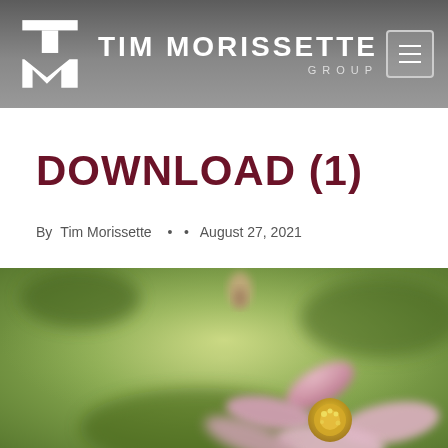TIM MORISSETTE GROUP
DOWNLOAD (1)
By Tim Morissette • • August 27, 2021
[Figure (photo): Close-up macro photograph of a pink flower with yellow center against a blurred green background, with a small bud visible in the upper portion]